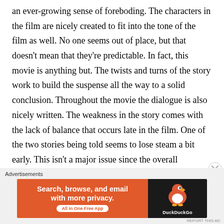an ever-growing sense of foreboding. The characters in the film are nicely created to fit into the tone of the film as well. No one seems out of place, but that doesn't mean that they're predictable. In fact, this movie is anything but. The twists and turns of the story work to build the suspense all the way to a solid conclusion. Throughout the movie the dialogue is also nicely written. The weakness in the story comes with the lack of balance that occurs late in the film. One of the two stories being told seems to lose steam a bit early. This isn't a major issue since the overall
[Figure (other): DuckDuckGo advertisement banner: orange left section with text 'Search, browse, and email with more privacy. All in One Free App' and dark right section with DuckDuckGo duck logo]